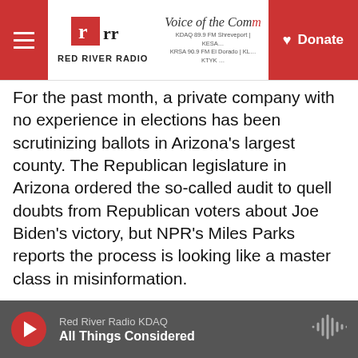Red River Radio | Voice of the Community | Donate
For the past month, a private company with no experience in elections has been scrutinizing ballots in Arizona's largest county. The Republican legislature in Arizona ordered the so-called audit to quell doubts from Republican voters about Joe Biden's victory, but NPR's Miles Parks reports the process is looking like a master class in misinformation.
MILES PARKS, BYLINE: Matt Masterson knows an election audit when he sees one. He was a senior adviser in the Department of Homeland Security in the Trump administration, working on cybersecurity and election infrastructure around the 2020...
Red River Radio KDAQ | All Things Considered